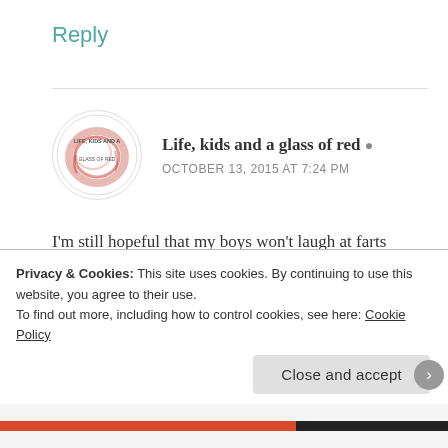Reply
[Figure (illustration): Circular blog logo for 'Life, Kids and a Glass of Red' with a red wine ring stain graphic and text around the circle]
Life, kids and a glass of red [author icon]
OCTOBER 13, 2015 AT 7:24 PM
I'm still hopeful that my boys won't laugh at farts when they're older, but considering I've seen grown, so-called professional men, at functions suddenly offer their finger to a colleague and say, "pull my finger", evolution obviously still has a
Privacy & Cookies: This site uses cookies. By continuing to use this website, you agree to their use.
To find out more, including how to control cookies, see here: Cookie Policy
Close and accept